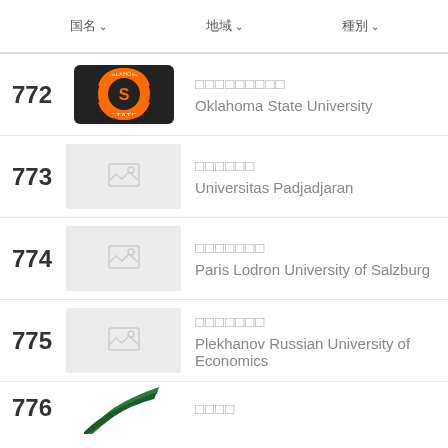（フィルタ） （フィルタ） （フィルタ）
772 ○○○○○○○○○ Oklahoma State University
773 ○○○○○○ Universitas Padjadjaran
774 ○○○○○○○ Paris Lodron University of Salzburg
775 ○○○○○○○ Plekhanov Russian University of Economics
776 ○○○○